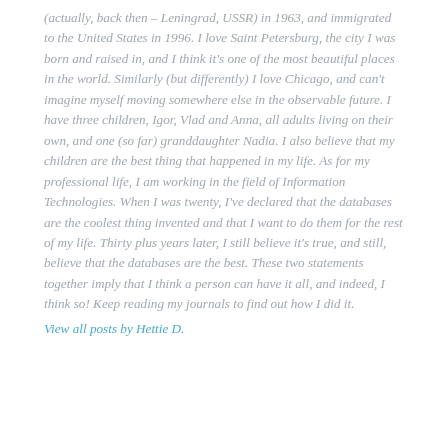(actually, back then – Leningrad, USSR) in 1963, and immigrated to the United States in 1996. I love Saint Petersburg, the city I was born and raised in, and I think it's one of the most beautiful places in the world. Similarly (but differently) I love Chicago, and can't imagine myself moving somewhere else in the observable future. I have three children, Igor, Vlad and Anna, all adults living on their own, and one (so far) granddaughter Nadia. I also believe that my children are the best thing that happened in my life. As for my professional life, I am working in the field of Information Technologies. When I was twenty, I've declared that the databases are the coolest thing invented and that I want to do them for the rest of my life. Thirty plus years later, I still believe it's true, and still, believe that the databases are the best. These two statements together imply that I think a person can have it all, and indeed, I think so! Keep reading my journals to find out how I did it.
View all posts by Hettie D.